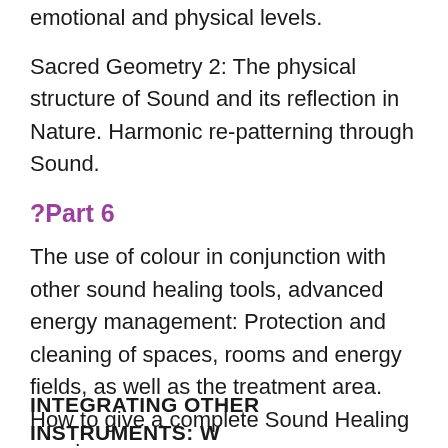emotional and physical levels.
Sacred Geometry 2: The physical structure of Sound and its reflection in Nature. Harmonic re-patterning through Sound.
?Part 6
The use of colour in conjunction with other sound healing tools, advanced energy management: Protection and cleaning of spaces, rooms and energy fields, as well as the treatment area. How to give a complete Sound Healing session.
INTEGRATING OTHER INSTRUMENTS: W